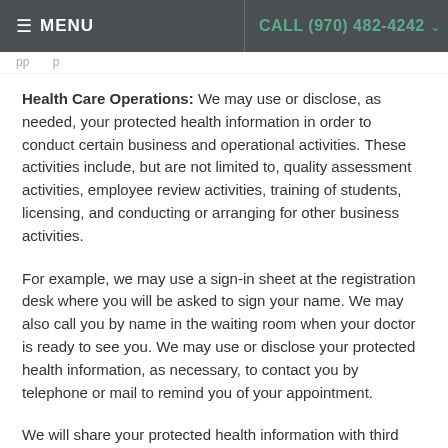≡ MENU   CALL (970) 482-4242
Health Care Operations: We may use or disclose, as needed, your protected health information in order to conduct certain business and operational activities. These activities include, but are not limited to, quality assessment activities, employee review activities, training of students, licensing, and conducting or arranging for other business activities.
For example, we may use a sign-in sheet at the registration desk where you will be asked to sign your name. We may also call you by name in the waiting room when your doctor is ready to see you. We may use or disclose your protected health information, as necessary, to contact you by telephone or mail to remind you of your appointment.
We will share your protected health information with third party "business associates" that perform various activities (e.g., billing, transcription services) for the